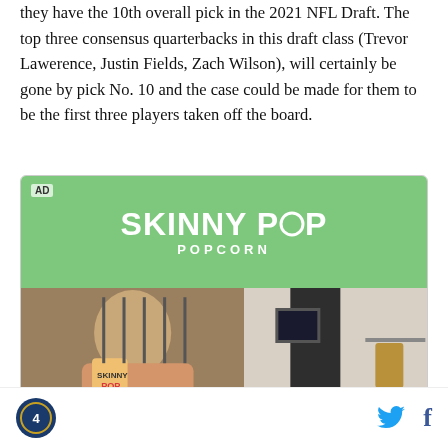The top three consensus quarterbacks in this draft class (Trevor Lawerence, Justin Fields, Zach Wilson), will certainly be gone by pick No. 10 and the case could be made for them to be the first three players taken off the board.
[Figure (advertisement): SkinnyPop Popcorn advertisement with green branded top section and photo of a man holding a SkinnyPop bag]